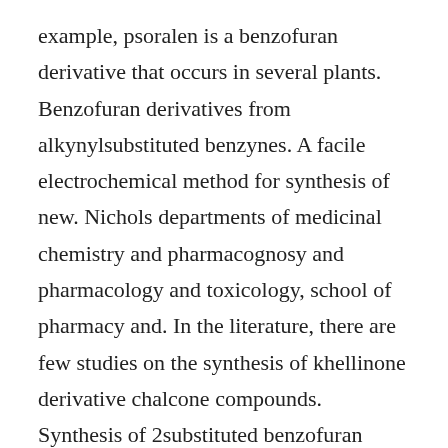example, psoralen is a benzofuran derivative that occurs in several plants. Benzofuran derivatives from alkynylsubstituted benzynes. A facile electrochemical method for synthesis of new. Nichols departments of medicinal chemistry and pharmacognosy and pharmacology and toxicology, school of pharmacy and. In the literature, there are few studies on the synthesis of khellinone derivative chalcone compounds. Synthesis of 2substituted benzofuran derivatives by the. A straightforward synthesis of indole and benzofuran.